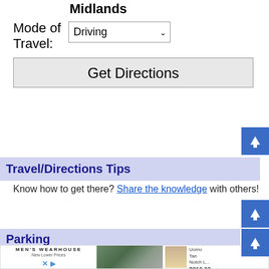Midlands
Mode of Travel: Driving
Get Directions
[Figure (screenshot): Blue square button with upward arrow icon (back to top button)]
Travel/Directions Tips
Know how to get there? Share the knowledge with others!
[Figure (screenshot): Blue square button with upward arrow icon (back to top button)]
[Figure (screenshot): Blue square button with upward arrow icon (back to top button)]
Parking
[Figure (photo): Men's Wearhouse advertisement showing a couple in formalwear and a product image of Pronto Uomo Tan Notch L... suit priced at $219.99]